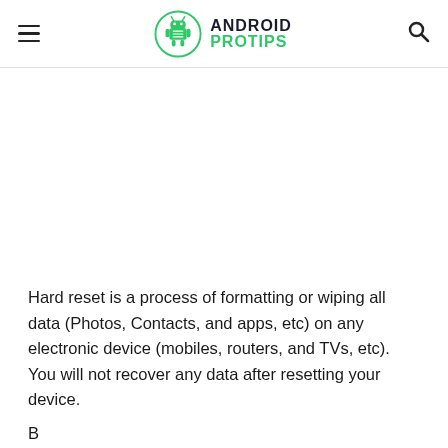ANDROID PROTIPS
Hard reset is a process of formatting or wiping all data (Photos, Contacts, and apps, etc) on any electronic device (mobiles, routers, and TVs, etc). You will not recover any data after resetting your device.